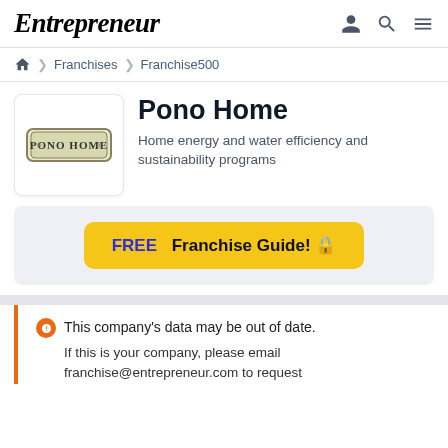Entrepreneur
Franchises > Franchise500
Pono Home
Home energy and water efficiency and sustainability programs
FREE Franchise Guide! 🔒
This company's data may be out of date. If this is your company, please email franchise@entrepreneur.com to request